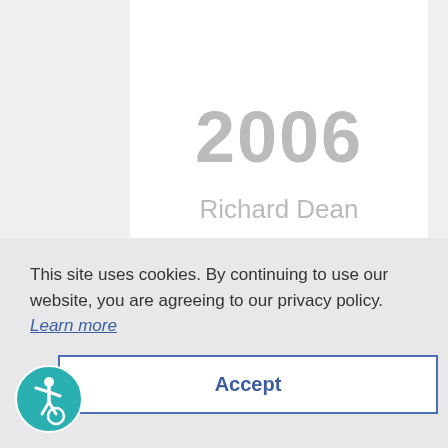2006
Richard Dean
Environmental Systems Associates, Inc.
2005
This site uses cookies. By continuing to use our website, you are agreeing to our privacy policy. Learn more
Accept